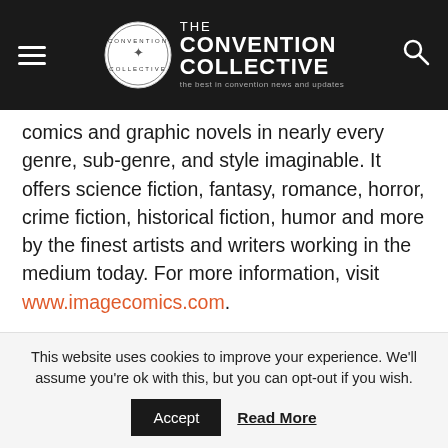THE CONVENTION COLLECTIVE — the best in convention news and updates
comics and graphic novels in nearly every genre, sub-genre, and style imaginable. It offers science fiction, fantasy, romance, horror, crime fiction, historical fiction, humor and more by the finest artists and writers working in the medium today. For more information, visit www.imagecomics.com.
SHARE THIS:
[Figure (infographic): Social sharing buttons: Twitter (blue), Facebook (blue), Reddit (light grey), Pocket (red), Tumblr (dark navy), LinkedIn (blue)]
This website uses cookies to improve your experience. We'll assume you're ok with this, but you can opt-out if you wish.